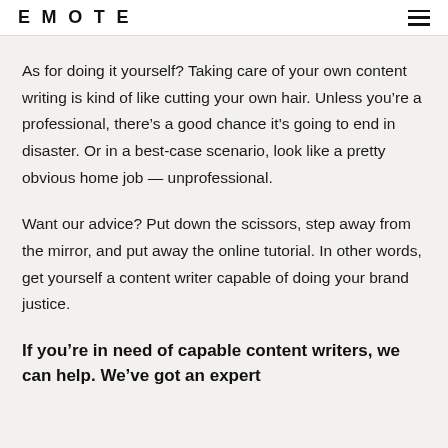EMOTE
As for doing it yourself? Taking care of your own content writing is kind of like cutting your own hair. Unless you’re a professional, there’s a good chance it’s going to end in disaster. Or in a best-case scenario, look like a pretty obvious home job — unprofessional.
Want our advice? Put down the scissors, step away from the mirror, and put away the online tutorial. In other words, get yourself a content writer capable of doing your brand justice.
If you’re in need of capable content writers, we can help. We’ve got an expert